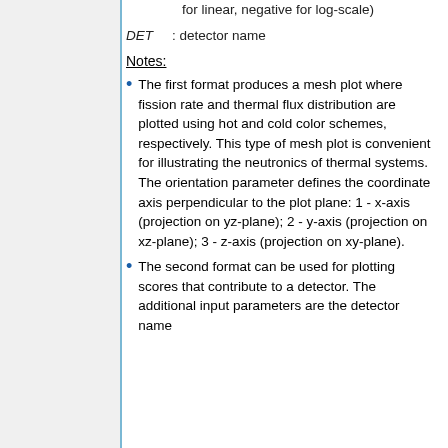for linear, negative for log-scale)
DET : detector name
Notes:
The first format produces a mesh plot where fission rate and thermal flux distribution are plotted using hot and cold color schemes, respectively. This type of mesh plot is convenient for illustrating the neutronics of thermal systems. The orientation parameter defines the coordinate axis perpendicular to the plot plane: 1 - x-axis (projection on yz-plane); 2 - y-axis (projection on xz-plane); 3 - z-axis (projection on xy-plane).
The second format can be used for plotting scores that contribute to a detector. The additional input parameters are the detector name